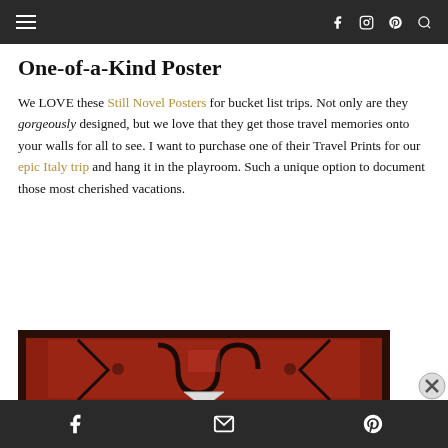Navigation bar with hamburger menu and social icons (Facebook, Instagram, Pinterest, Search)
One-of-a-Kind Poster
We LOVE these Still Novel Posters for bucket list trips. Not only are they gorgeously designed, but we love that they get those travel memories onto your walls for all to see. I want to purchase one of their Travel Prints for our epic Italy trip and hang it in the playroom. Such a unique option to document those most cherished vacations.
[Figure (photo): A decorative red patterned rug or carpet with a framed poster/print visible at the bottom center]
Advertisements
Bottom bar with Facebook, email, and Pinterest share icons